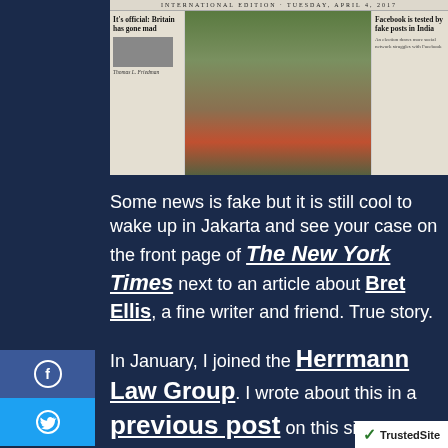[Figure (photo): Newspaper front page showing 'It's official: Britain has gone mad' column by Thomas L. Friedman on left, nature/forest photo in center, and 'Facebook is tested by fake posts in India' article on right. Labeled as International Edition.]
Some news is fake but it is still cool to wake up in Jakarta and see your case on the front page of The New York Times next to an article about Bret Ellis, a fine writer and friend. True story.
In January, I joined the Herrmann Law Group. I wrote about this in a previous post on this site, on my author website blog, and Facebook.
I am honored to to be meeting, learning about...
[Figure (logo): TrustedSite badge with green shield checkmark icon]